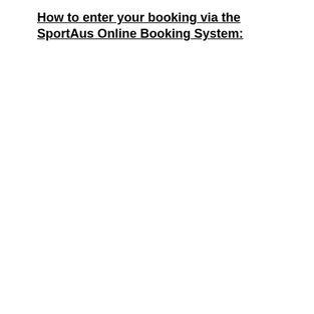How to enter your booking via the SportAus Online Booking System: